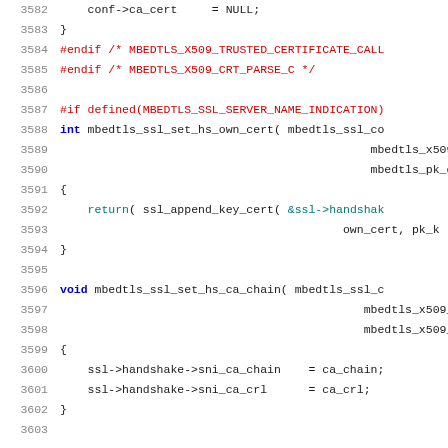[Figure (screenshot): Source code listing in C showing lines 3582-3603 of mbedtls SSL library code, with line numbers on the left, syntax highlighted in blue, red, teal, and black monospace font on white background.]